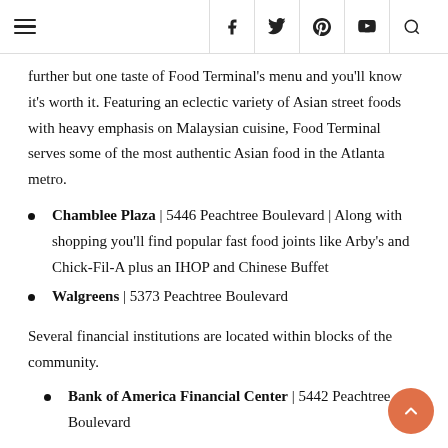Navigation header with hamburger menu and social icons (f, Twitter, Pinterest, YouTube, Search)
further but one taste of Food Terminal's menu and you'll know it's worth it. Featuring an eclectic variety of Asian street foods with heavy emphasis on Malaysian cuisine, Food Terminal serves some of the most authentic Asian food in the Atlanta metro.
Chamblee Plaza | 5446 Peachtree Boulevard | Along with shopping you'll find popular fast food joints like Arby's and Chick-Fil-A plus an IHOP and Chinese Buffet
Walgreens | 5373 Peachtree Boulevard
Several financial institutions are located within blocks of the community.
Bank of America Financial Center | 5442 Peachtree Boulevard